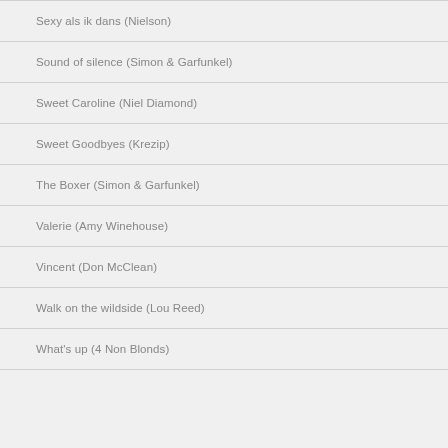Sexy als ik dans (Nielson)
Sound of silence (Simon & Garfunkel)
Sweet Caroline (Niel Diamond)
Sweet Goodbyes (Krezip)
The Boxer (Simon & Garfunkel)
Valerie (Amy Winehouse)
Vincent (Don McClean)
Walk on the wildside (Lou Reed)
What's up (4 Non Blonds)